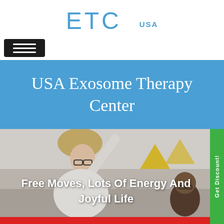ETC   USA
[Figure (screenshot): Black hamburger/menu button icon with three horizontal white lines on dark background]
USA Exosome Therapy Center
[Figure (photo): Photo of elderly people celebrating, woman with curly blonde hair raising her arm, yellow decorations in background, man in background]
Free Moves, Lots Of Energy And Joyful Life